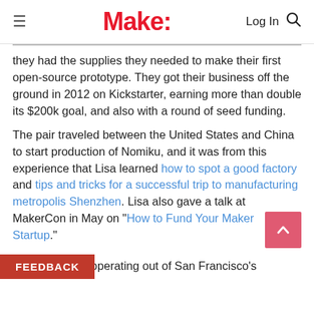Make:   Log In
they had the supplies they needed to make their first open-source prototype. They got their business off the ground in 2012 on Kickstarter, earning more than double its $200k goal, and also with a round of seed funding.
The pair traveled between the United States and China to start production of Nomiku, and it was from this experience that Lisa learned how to spot a good factory and tips and tricks for a successful trip to manufacturing metropolis Shenzhen. Lisa also gave a talk at MakerCon in May on “How to Fund Your Maker Startup.”
Nomiku is now operating out of San Francisco’s